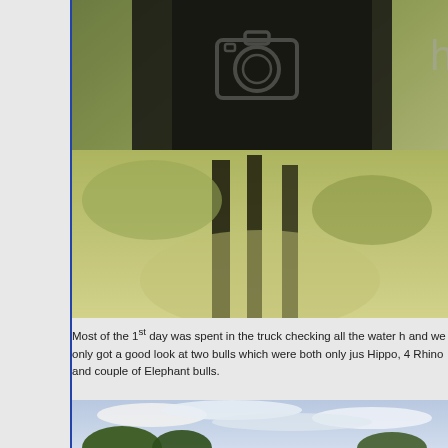[Figure (photo): Blurred close-up photo of a dark animal (possibly buffalo or elephant) in greenish bush/grass environment, with a camera icon watermark overlay visible in the upper center area and partial text 'h' on the right side]
Most of the 1st day was spent in the truck checking all the water h and we only got a good look at two bulls which were both only jus Hippo, 4 Rhino and couple of Elephant bulls.
[Figure (photo): Partial view of an outdoor landscape photo showing trees and cloudy sky, cut off at the bottom of the page]